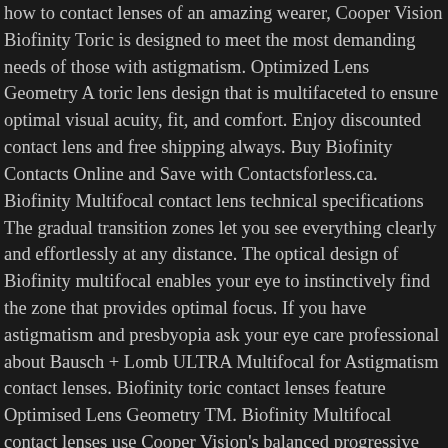how to contact lenses of an amazing wearer, Cooper Vision Biofinity Toric is designed to meet the most demanding needs of those with astigmatism. Optimized Lens Geometry A toric lens design that is multifaceted to ensure optimal visual acuity, fit, and comfort. Enjoy discounted contact lens and free shipping always. Buy Biofinity Contacts Online and Save with Contactsforless.ca. Biofinity Multifocal contact lens technical specifications The gradual transition zones let you see everything clearly and effortlessly at any distance. The optical design of Biofinity multifocal enables your eye to instinctively find the zone that provides optimal focus. If you have astigmatism and presbyopia ask your eye care professional about Bausch + Lomb ULTRA Multifocal for Astigmatism contact lenses. Biofinity toric contact lenses feature Optimised Lens Geometry TM. Biofinity Multifocal contact lenses use Cooper Vision's balanced progressive technology to deliver clear vision to those who are experiencing difficulties seeing both near and far distances clearly. Contact lenses that correct astigmatism are called Toric Contact Lenses. Multifocal lenses are a simple solution for tackling presbyopia. Comparing Biofinity Toric Multifocal to Ultra Multifocal for Astigmatism The safety and scientific validity of this study is the responsibility of the study sponsor and investigators